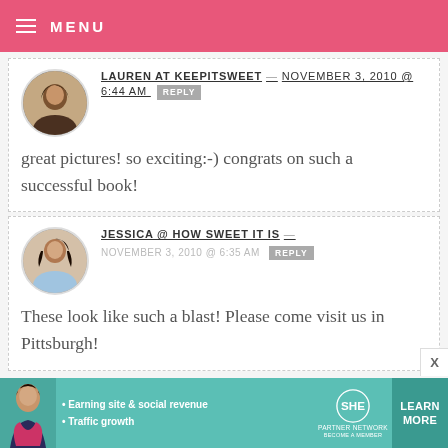MENU
LAUREN AT KEEPITSWEET — NOVEMBER 3, 2010 @ 6:44 AM REPLY
great pictures! so exciting:-) congrats on such a successful book!
JESSICA @ HOW SWEET IT IS — NOVEMBER 3, 2010 @ 6:35 AM REPLY
These look like such a blast! Please come visit us in Pittsburgh!
[Figure (infographic): SHE Partner Network advertisement banner with learn more button]